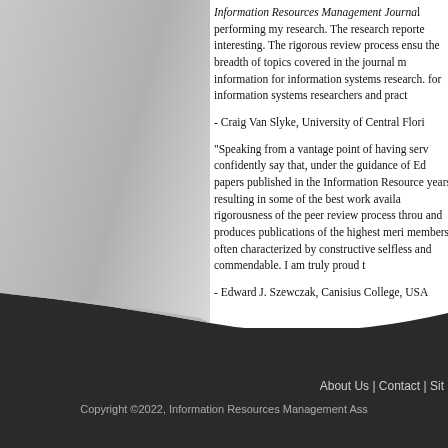Information Resources Management Journal performing my research. The research reported interesting. The rigorous review process ensured the breadth of topics covered in the journal makes information for information systems research. for information systems researchers and practitioners. - Craig Van Slyke, University of Central Florida
"Speaking from a vantage point of having served, I can confidently say that, under the guidance of Ed, the papers published in the Information Resources Management years resulting in some of the best work available. The rigorousness of the peer review process throughout and produces publications of the highest merit. Review board members, often characterized by constructive comments, are selfless and commendable. I am truly proud to- - Edward J. Szewczak, Canisius College, USA
About Us | Contact | Sit
Copyright ©2022, Information Resources Management Ass